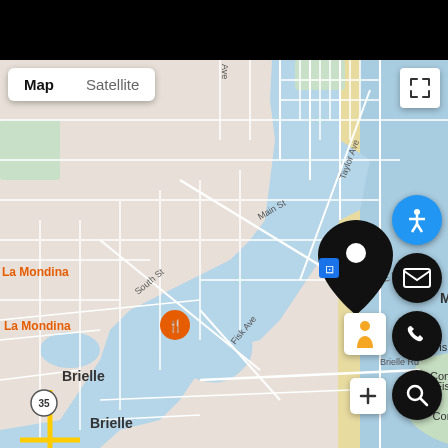[Figure (map): Google Maps view showing Manasquan, NJ area with location pin, nearby Sea Girt Beach, La Mondina restaurant, Brielle, Fisherman's Cove Conservation Area, and Manasquan Beach. Map/Satellite toggle in top-left, fullscreen button top-right. Floating action buttons on the right side: accessibility, email, phone, person, search, and zoom (+).]